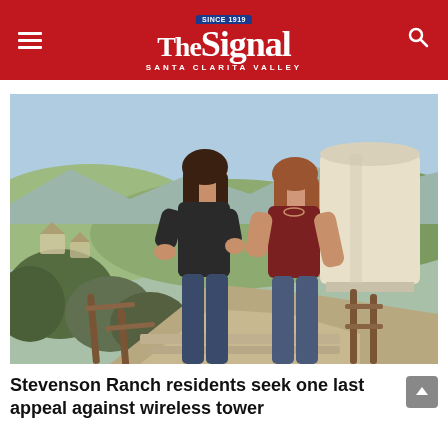The Signal — Santa Clarita Valley
[Figure (photo): Two women standing on outdoor stairs near a large water tank with a hillside suburban landscape in the background. The woman on the left wears a dark top and jeans; the woman on the right wears a dark red sleeveless top and jeans.]
Stevenson Ranch residents seek one last appeal against wireless tower